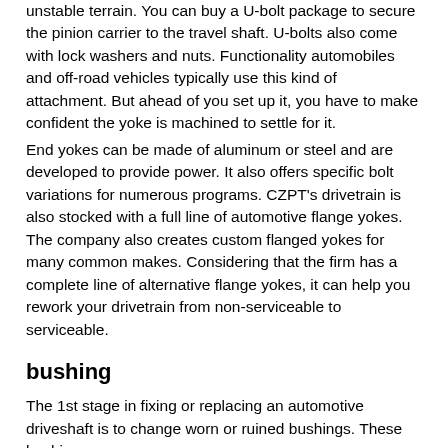unstable terrain. You can buy a U-bolt package to secure the pinion carrier to the travel shaft. U-bolts also come with lock washers and nuts. Functionality automobiles and off-road vehicles typically use this kind of attachment. But ahead of you set up it, you have to make confident the yoke is machined to settle for it.
End yokes can be made of aluminum or steel and are developed to provide power. It also offers specific bolt variations for numerous programs. CZPT's drivetrain is also stocked with a full line of automotive flange yokes. The company also creates custom flanged yokes for many common makes. Considering that the firm has a complete line of alternative flange yokes, it can help you rework your drivetrain from non-serviceable to serviceable.
bushing
The 1st stage in fixing or replacing an automotive driveshaft is to change worn or ruined bushings. These bushings are